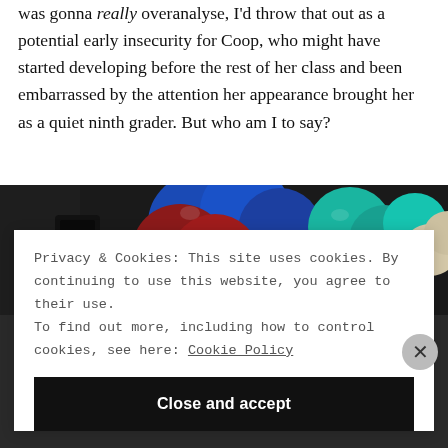was gonna really overanalyse, I'd throw that out as a potential early insecurity for Coop, who might have started developing before the rest of her class and been embarrassed by the attention her appearance brought her as a quiet ninth grader. But who am I to say?
[Figure (photo): Photo showing colorful balloons (blue, red, teal, white) against a dark background, partially obscured by a cookie consent overlay.]
Privacy & Cookies: This site uses cookies. By continuing to use this website, you agree to their use.
To find out more, including how to control cookies, see here: Cookie Policy
Close and accept